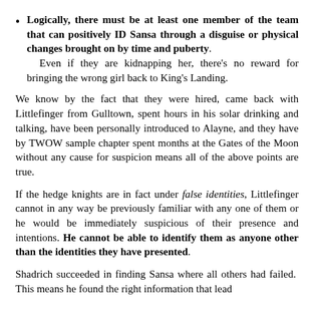Logically, there must be at least one member of the team that can positively ID Sansa through a disguise or physical changes brought on by time and puberty. Even if they are kidnapping her, there's no reward for bringing the wrong girl back to King's Landing.
We know by the fact that they were hired, came back with Littlefinger from Gulltown, spent hours in his solar drinking and talking, have been personally introduced to Alayne, and they have by TWOW sample chapter spent months at the Gates of the Moon without any cause for suspicion means all of the above points are true.
If the hedge knights are in fact under false identities, Littlefinger cannot in any way be previously familiar with any one of them or he would be immediately suspicious of their presence and intentions. He cannot be able to identify them as anyone other than the identities they have presented.
Shadrich succeeded in finding Sansa where all others had failed. This means he found the right information that lead him to...